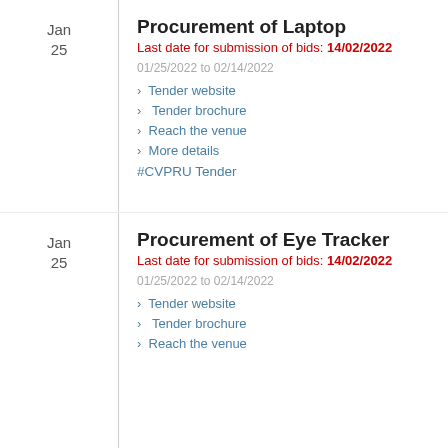Procurement of Laptop
Last date for submission of bids: 14/02/2022
01/25/2022 to 02/14/2022
Tender website
Tender brochure
Reach the venue
More details
#CVPRU Tender
Procurement of Eye Tracker
Last date for submission of bids: 14/02/2022
01/25/2022 to 02/14/2022
Tender website
Tender brochure
Reach the venue